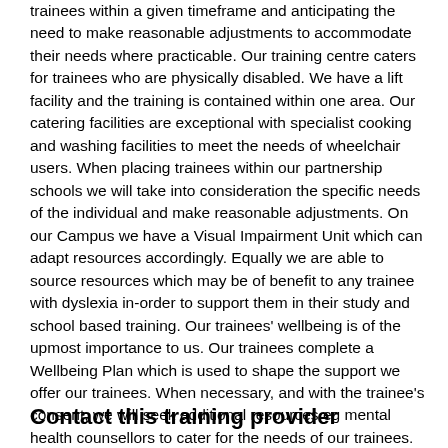trainees within a given timeframe and anticipating the need to make reasonable adjustments to accommodate their needs where practicable. Our training centre caters for trainees who are physically disabled. We have a lift facility and the training is contained within one area. Our catering facilities are exceptional with specialist cooking and washing facilities to meet the needs of wheelchair users. When placing trainees within our partnership schools we will take into consideration the specific needs of the individual and make reasonable adjustments. On our Campus we have a Visual Impairment Unit which can adapt resources accordingly. Equally we are able to source resources which may be of benefit to any trainee with dyslexia in-order to support them in their study and school based training. Our trainees' wellbeing is of the upmost importance to us. Our trainees complete a Wellbeing Plan which is used to shape the support we offer our trainees. When necessary, and with the trainee's consent, we will seek additional resources eg mental health counsellors to cater for the needs of our trainees.
Contact this training provider